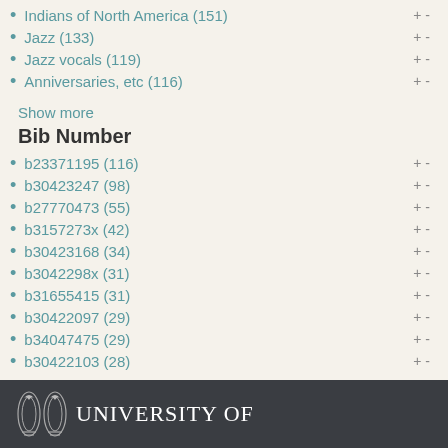Indians of North America (151)
Jazz (133)
Jazz vocals (119)
Anniversaries, etc (116)
Show more
Bib Number
b23371195 (116)
b30423247 (98)
b27770473 (55)
b3157273x (42)
b30423168 (34)
b3042298x (31)
b31655415 (31)
b30422097 (29)
b34047475 (29)
b30422103 (28)
Show more
University of